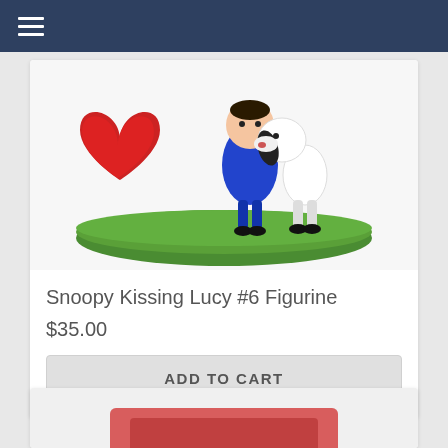Navigation menu
[Figure (photo): Snoopy Kissing Lucy #6 figurine showing Snoopy (white dog) kissing Lucy (blue outfit) next to a red heart, standing on a green grass base]
Snoopy Kissing Lucy #6 Figurine
$35.00
ADD TO CART
[Figure (photo): Partial view of a second product figurine at the bottom of the page, partially cropped]